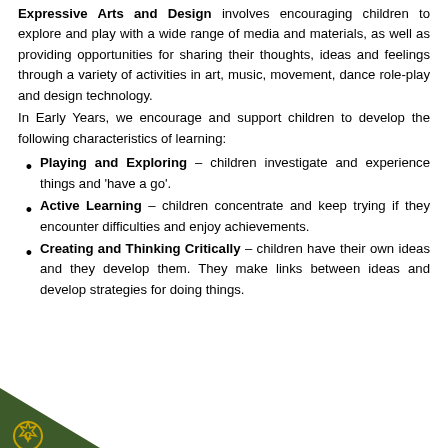Expressive Arts and Design involves encouraging children to explore and play with a wide range of media and materials, as well as providing opportunities for sharing their thoughts, ideas and feelings through a variety of activities in art, music, movement, dance role-play and design technology.
In Early Years, we encourage and support children to develop the following characteristics of learning:
Playing and Exploring – children investigate and experience things and 'have a go'.
Active Learning – children concentrate and keep trying if they encounter difficulties and enjoy achievements.
Creating and Thinking Critically – children have their own ideas and they develop them. They make links between ideas and develop strategies for doing things.